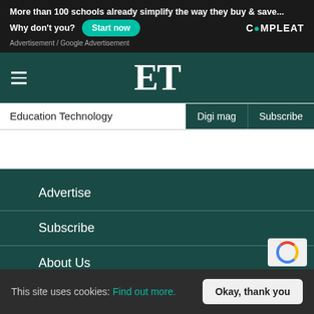[Figure (screenshot): Advertisement banner: 'More than 100 schools already simplify the way they buy & save... Why don't you?' with a teal 'Start now' button and COMPLEAT logo on dark background]
Advertisement / Google Advertisement
ET — Education Technology with hamburger menu, Digi mag and Subscribe links
Advertise
Subscribe
About Us
This site uses cookies: Find out more.
Okay, thank you